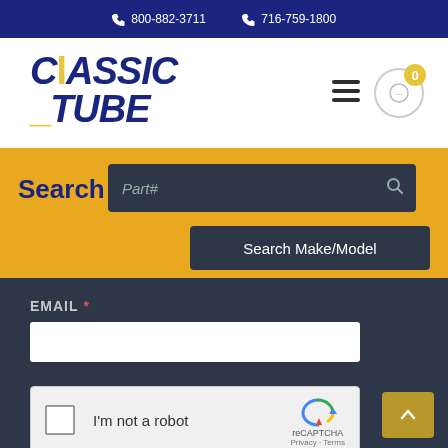800-882-3711  716-759-1800
[Figure (logo): Classic Tube company logo in bold italic blue lettering]
Search
Part#
Search Make/Model
EMAIL *
[Figure (other): reCAPTCHA widget with checkbox labeled I'm not a robot]